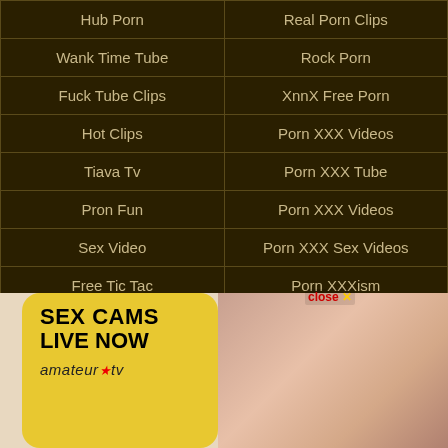| Hub Porn | Real Porn Clips |
| Wank Time Tube | Rock Porn |
| Fuck Tube Clips | XnnX Free Porn |
| Hot Clips | Porn XXX Videos |
| Tiava Tv | Porn XXX Tube |
| Pron Fun | Porn XXX Videos |
| Sex Video | Porn XXX Sex Videos |
| Free Tic Tac | Porn XXXism |
| Porn XXX Sex | Sex 2020 |
| Anal Rare Tube | Sex 2019 |
| Sex Free XXX | Porn Hamsters |
[Figure (photo): Advertisement banner for amateur.tv sex cams live now, with photo of a person]